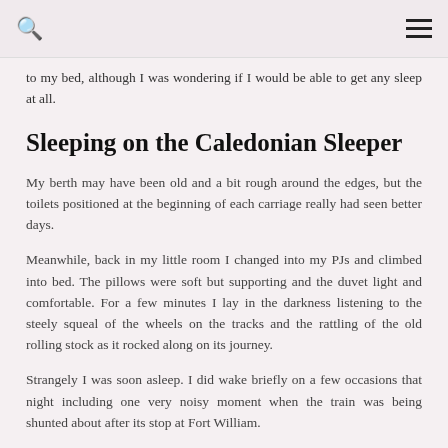to my bed, although I was wondering if I would be able to get any sleep at all.
Sleeping on the Caledonian Sleeper
My berth may have been old and a bit rough around the edges, but the toilets positioned at the beginning of each carriage really had seen better days.
Meanwhile, back in my little room I changed into my PJs and climbed into bed. The pillows were soft but supporting and the duvet light and comfortable. For a few minutes I lay in the darkness listening to the steely squeal of the wheels on the tracks and the rattling of the old rolling stock as it rocked along on its journey.
Strangely I was soon asleep. I did wake briefly on a few occasions that night including one very noisy moment when the train was being shunted about after its stop at Fort William.